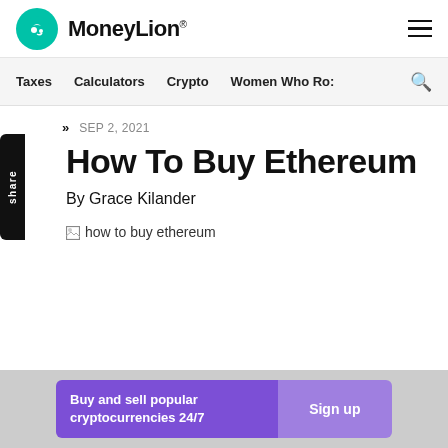MoneyLion
Taxes  Calculators  Crypto  Women Who Ro:
SEP 2, 2021
How To Buy Ethereum
By Grace Kilander
[Figure (photo): Broken image placeholder with alt text 'how to buy ethereum']
Buy and sell popular cryptocurrencies 24/7  Sign up